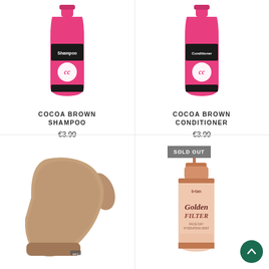[Figure (photo): Pink Cocoa Brown Shampoo bottle with black label and CC logo]
COCOA BROWN SHAMPOO
€3.99
[Figure (photo): Pink Cocoa Brown Conditioner bottle with black label and CC logo]
COCOA BROWN CONDITIONER
€3.99
[Figure (photo): Tan/beige velvet tanning mitt/glove]
[Figure (photo): B-Tan Golden Filter face day hydrating mist spray bottle with rose gold cap, SOLD OUT badge]
SOLD OUT